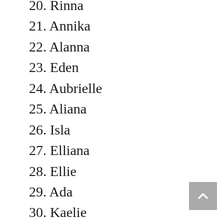20. Rinna
21. Annika
22. Alanna
23. Eden
24. Aubrielle
25. Aliana
26. Isla
27. Elliana
28. Ellie
29. Ada
30. Kaelie
31. Addison
32. Karina
33. April
34. Arabella
35. Gracie
36. Mimi